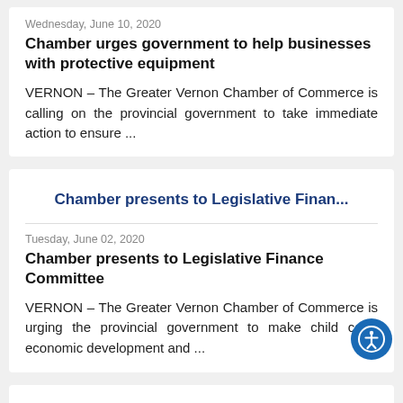Wednesday, June 10, 2020
Chamber urges government to help businesses with protective equipment
VERNON – The Greater Vernon Chamber of Commerce is calling on the provincial government to take immediate action to ensure ...
Chamber presents to Legislative Finan...
Tuesday, June 02, 2020
Chamber presents to Legislative Finance Committee
VERNON – The Greater Vernon Chamber of Commerce is urging the provincial government to make child care, economic development and ...
Chamber connects young entrepreneurs